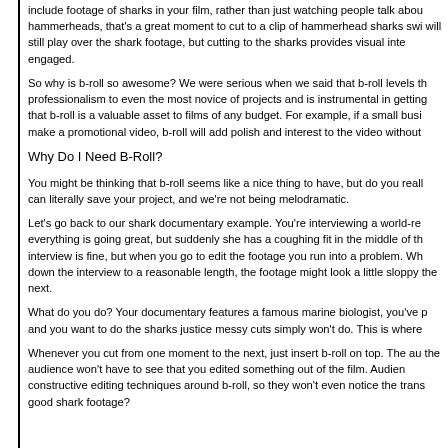include footage of sharks in your film, rather than just watching people talk about hammerheads, that's a great moment to cut to a clip of hammerhead sharks swi will still play over the shark footage, but cutting to the sharks provides visual inte engaged.
So why is b-roll so awesome? We were serious when we said that b-roll levels th professionalism to even the most novice of projects and is instrumental in getting that b-roll is a valuable asset to films of any budget. For example, if a small busi make a promotional video, b-roll will add polish and interest to the video without
Why Do I Need B-Roll?
You might be thinking that b-roll seems like a nice thing to have, but do you reall can literally save your project, and we're not being melodramatic.
Let's go back to our shark documentary example. You're interviewing a world-ren everything is going great, but suddenly she has a coughing fit in the middle of th interview is fine, but when you go to edit the footage you run into a problem. Wh down the interview to a reasonable length, the footage might look a little sloppy the next.
What do you do? Your documentary features a famous marine biologist, you've p and you want to do the sharks justice messy cuts simply won't do. This is where
Whenever you cut from one moment to the next, just insert b-roll on top. The au the audience won't have to see that you edited something out of the film. Audien constructive editing techniques around b-roll, so they won't even notice the trans good shark footage?